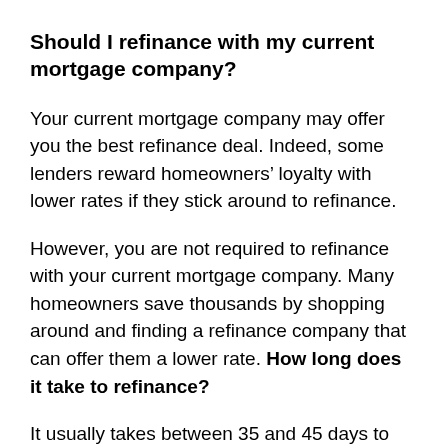Should I refinance with my current mortgage company?
Your current mortgage company may offer you the best refinance deal. Indeed, some lenders reward homeowners’ loyalty with lower rates if they stick around to refinance.
However, you are not required to refinance with your current mortgage company. Many homeowners save thousands by shopping around and finding a refinance company that can offer them a lower rate. How long does it take to refinance?
It usually takes between 35 and 45 days to refinance a home. But how long it takes you to refinance will